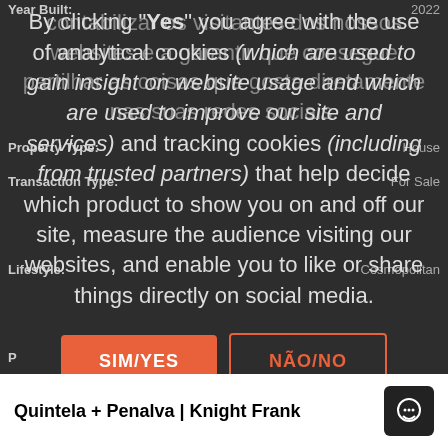Year Built: 2022
contabilizar os visitantes dos nossos websites e a garantir que consegue partilhar as coisas que gosta diretamente nas suas redes sociais.
Property Type: House
Transaction Type: For Sale
By clicking "Yes" you agree with the use of analytical cookies (which are used to gain insight on website usage and which are used to improve our site and services) and tracking cookies (including from trusted partners) that help decide which product to show you on and off our site, measure the audience visiting our websites, and enable you to like or share things directly on social media.
Lifestyle: Cosmopolitan
Availability: Available
Close of: Countryside, School,
SIM/YES
NÃO/NO
Quintela + Penalva | Knight Frank